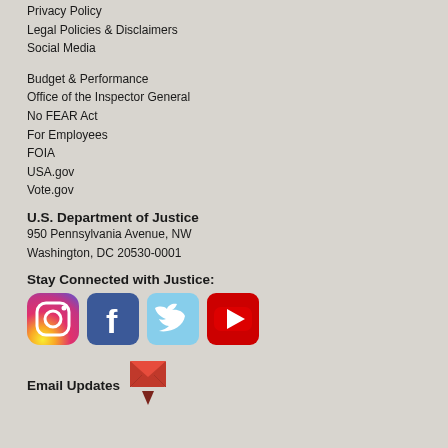Privacy Policy
Legal Policies & Disclaimers
Social Media
Budget & Performance
Office of the Inspector General
No FEAR Act
For Employees
FOIA
USA.gov
Vote.gov
U.S. Department of Justice
950 Pennsylvania Avenue, NW
Washington, DC 20530-0001
Stay Connected with Justice:
[Figure (logo): Social media icons: Instagram, Facebook, Twitter, YouTube]
Email Updates
[Figure (logo): Email envelope icon with red/maroon design]